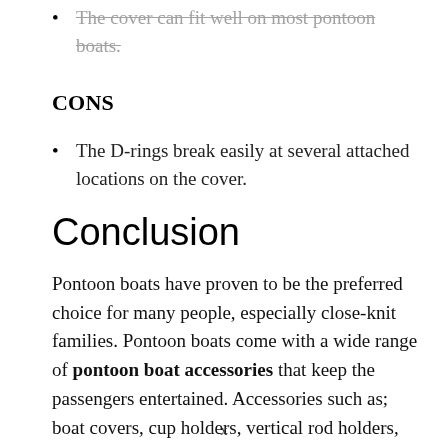The cover can fit well on most pontoon boats.
CONS
The D-rings break easily at several attached locations on the cover.
Conclusion
Pontoon boats have proven to be the preferred choice for many people, especially close-knit families. Pontoon boats come with a wide range of pontoon boat accessories that keep the passengers entertained. Accessories such as; boat covers, cup holders, vertical rod holders, and coolers are all essential for a standard
x